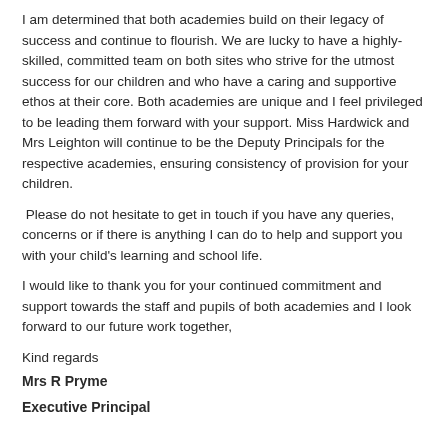I am determined that both academies build on their legacy of success and continue to flourish. We are lucky to have a highly-skilled, committed team on both sites who strive for the utmost success for our children and who have a caring and supportive ethos at their core. Both academies are unique and I feel privileged to be leading them forward with your support. Miss Hardwick and Mrs Leighton will continue to be the Deputy Principals for the respective academies, ensuring consistency of provision for your children.
Please do not hesitate to get in touch if you have any queries, concerns or if there is anything I can do to help and support you with your child's learning and school life.
I would like to thank you for your continued commitment and support towards the staff and pupils of both academies and I look forward to our future work together,
Kind regards
Mrs R Pryme
Executive Principal